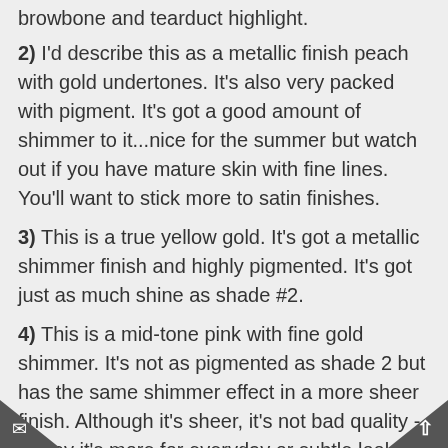browbone and tearduct highlight.
2) I'd describe this as a metallic finish peach with gold undertones.  It's also very packed with pigment.  It's got a good amount of shimmer to it...nice for the summer but watch out if you have mature skin with fine lines.  You'll want to stick more to satin finishes.
3) This is a true yellow gold.  It's got a metallic shimmer finish and highly pigmented.  It's got just as much shine as shade #2.
4) This is a mid-tone pink with fine gold shimmer.  It's not as pigmented as shade 2 but has the same shimmer effect in a more sheer finish.  Although it's sheer, it's not bad quality - i'd say it's more for everyday or subtle looks.
5) This is a matte, dusty rose shade.  It doesn't necessarily stand out at first glance but can be very useful for blending in the crease and is a great shade for fair skin tones to help contour the eye.  It's a great everyday color